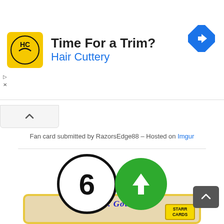[Figure (other): Advertisement banner for Hair Cuttery with logo, headline 'Time For a Trim?', subhead 'Hair Cuttery', and a blue navigation arrow icon]
Fan card submitted by RazorsEdge88 – Hosted on Imgur
[Figure (infographic): Rating display: circle with number 6 (outlined, white background) and green circle with white upward arrow]
ALIYA GIANNA GOUVEIA
Ft Lauderdale Flying L, Volleyball
[Figure (other): Bottom card preview showing 'Aliya G. Gouveia' in blue italic bold text on a yellow-bordered card with a player photo and Starr Cards badge]